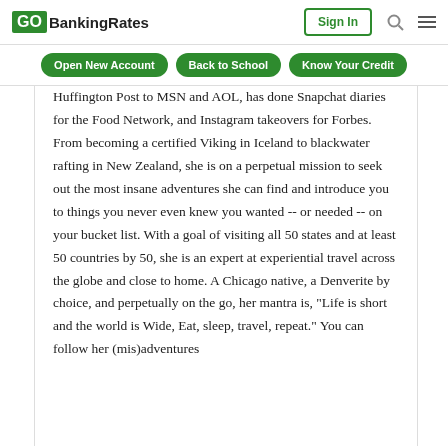GOBankingRates | Sign In
Open New Account   Back to School   Know Your Credit
Huffington Post to MSN and AOL, has done Snapchat diaries for the Food Network, and Instagram takeovers for Forbes. From becoming a certified Viking in Iceland to blackwater rafting in New Zealand, she is on a perpetual mission to seek out the most insane adventures she can find and introduce you to things you never even knew you wanted -- or needed -- on your bucket list. With a goal of visiting all 50 states and at least 50 countries by 50, she is an expert at experiential travel across the globe and close to home. A Chicago native, a Denverite by choice, and perpetually on the go, her mantra is, "Life is short and the world is Wide, Eat, sleep, travel, repeat." You can follow her (mis)adventures